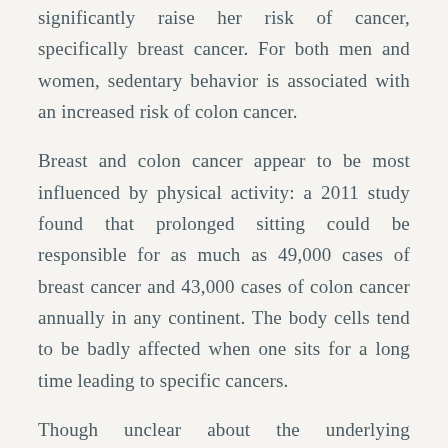significantly raise her risk of cancer, specifically breast cancer. For both men and women, sedentary behavior is associated with an increased risk of colon cancer.
Breast and colon cancer appear to be most influenced by physical activity: a 2011 study found that prolonged sitting could be responsible for as much as 49,000 cases of breast cancer and 43,000 cases of colon cancer annually in any continent. The body cells tend to be badly affected when one sits for a long time leading to specific cancers.
Though unclear about the underlying mechanism caused by sitting, scientists have found a number of biomarkers, such as C-reactive protein, that are present in higher levels in people who sit for long